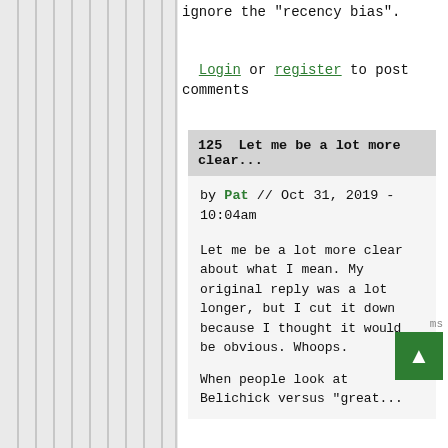ignore the "recency bias".
Login or register to post comments
125  Let me be a lot more clear...
by Pat // Oct 31, 2019 - 10:04am
Let me be a lot more clear about what I mean. My original reply was a lot longer, but I cut it down because I thought it would be obvious. Whoops.
When people look at Belichick versus "great...